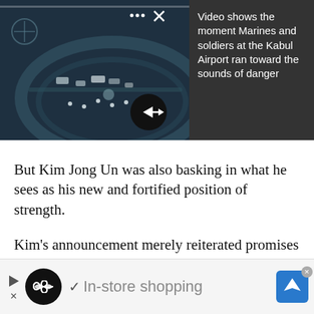[Figure (screenshot): Video thumbnail showing aerial infrared/night-vision footage of Kabul Airport with military personnel, overlaid with dots menu and X close button, and a black circular arrow/play button at bottom right]
Video shows the moment Marines and soldiers at the Kabul Airport ran toward the sounds of danger
But Kim Jong Un was also basking in what he sees as his new and fortified position of strength.
Kim's announcement merely reiterated promises he had made last month: a moratorium on nuclear tests
[Figure (screenshot): Advertisement bar at bottom: play/close controls, black circular logo with infinity symbol, checkmark, 'In-store shopping' text, blue navigation icon with X close button]